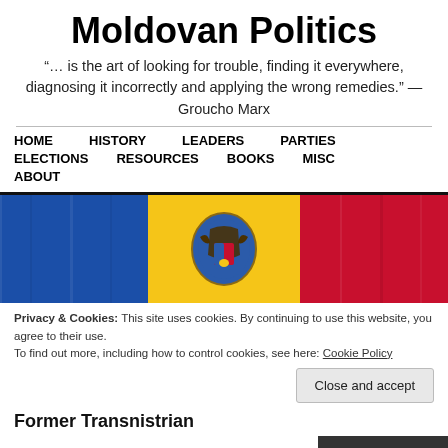Moldovan Politics
“… is the art of looking for trouble, finding it everywhere, diagnosing it incorrectly and applying the wrong remedies.” — Groucho Marx
HOME   HISTORY   LEADERS   PARTIES   ELECTIONS   RESOURCES   BOOKS   MISC   ABOUT
[Figure (photo): Moldova national flag with blue, yellow, and red vertical stripes and the Moldovan coat of arms in the center]
Privacy & Cookies: This site uses cookies. By continuing to use this website, you agree to their use.
To find out more, including how to control cookies, see here: Cookie Policy
Close and accept
Former Transnistrian